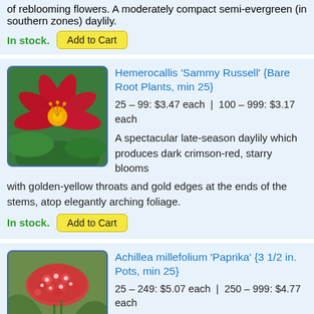of reblooming flowers. A moderately compact semi-evergreen (in southern zones) daylily.
In stock. Add to Cart
[Figure (photo): Red daylily flower with green foliage background]
Hemerocallis 'Sammy Russell' {Bare Root Plants, min 25}
25 – 99: $3.47 each  |  100 – 999: $3.17 each
A spectacular late-season daylily which produces dark crimson-red, starry blooms with golden-yellow throats and gold edges at the ends of the stems, atop elegantly arching foliage.
In stock. Add to Cart
[Figure (photo): Red-pink Achillea millefolium Paprika flower clusters with green foliage]
Achillea millefolium 'Paprika' {3 1/2 in. Pots, min 25}
25 – 249: $5.07 each  |  250 – 999: $4.77 each
(Milfoil, Yarrow, Thousand Leaf, Stanchgrass, Sanguinary, Nose-bleed, Thousand Seal, millefolium) 3-4" stunning, large crimson flower clusters on lacy sage fern-like foliage with a slightly